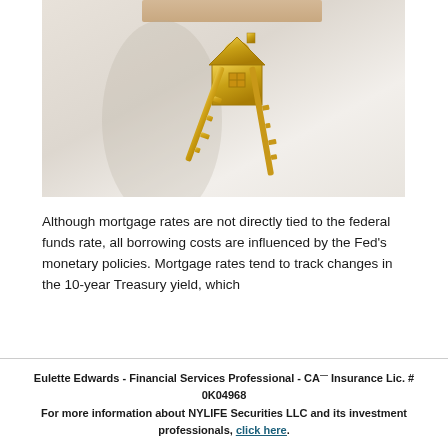[Figure (photo): Gold keys with a house-shaped keychain hanging against a light beige/white background]
Although mortgage rates are not directly tied to the federal funds rate, all borrowing costs are influenced by the Fed's monetary policies. Mortgage rates tend to track changes in the 10-year Treasury yield, which
Eulette Edwards - Financial Services Professional - CA Insurance Lic. # 0K04968
For more information about NYLIFE Securities LLC and its investment professionals, click here.